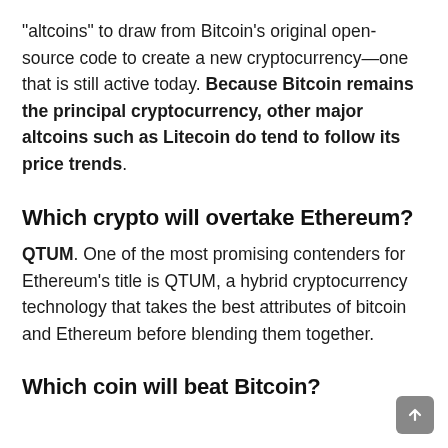"altcoins" to draw from Bitcoin's original open-source code to create a new cryptocurrency—one that is still active today. Because Bitcoin remains the principal cryptocurrency, other major altcoins such as Litecoin do tend to follow its price trends.
Which crypto will overtake Ethereum?
QTUM. One of the most promising contenders for Ethereum's title is QTUM, a hybrid cryptocurrency technology that takes the best attributes of bitcoin and Ethereum before blending them together.
Which coin will beat Bitcoin?